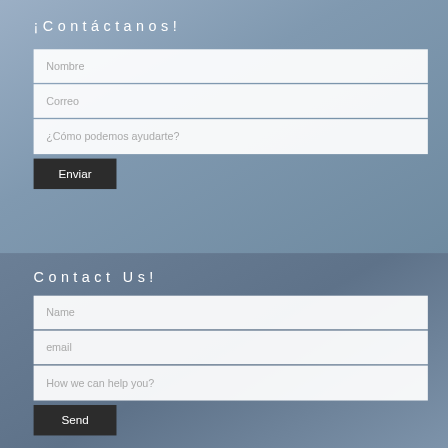¡Contáctanos!
Nombre
Correo
¿Cómo podemos ayudarte?
Enviar
Contact Us!
Name
email
How we can help you?
Send